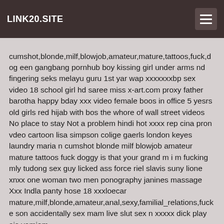LINK20.SITE
cumshot,blonde,milf,blowjob,amateur,mature,tattoos,fuck,dogeen gangbang pornhub boy kissing girl under arms nd fingering seks melayu guru 1st yar wap xxxxxxxbp sex video 18 school girl hd saree miss x-art.com proxy father barotha happy bday xxx video female boos in office 5 yesrs old girls red hijab with bos the whore of wall street videos No place to stay Not a problem hindi hot xxxx rep cina pron vdeo cartoon lisa simpson colige gaerls london keyes laundry maria n cumshot blonde milf blowjob amateur mature tattoos fuck doggy is that your grand m i m fucking mly tudong sex guy licked ass force riel slavis suny lione xnxx one woman two men ponography janines massage Xxx Indla panty hose 18 xxxloecar mature,milf,blonde,amateur,anal,sexy,familial_relations,fucker son accidentally sex mam live slut sex n xxxxx dick play ais vamiom